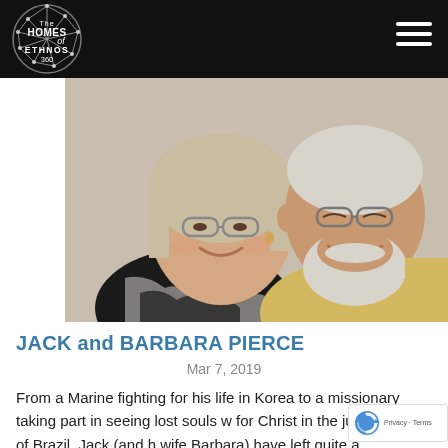The HOMES of ETHNOS 360
[Figure (photo): Photo of an older couple smiling. The woman on the left has short blonde-gray hair, glasses, and a black and white zebra-print top. The man on the right has white hair, a white beard, glasses, and a yellow button-up shirt.]
JACK and BARBARA PIERCE
Mar 7, 2019
From a Marine fighting for his life in Korea to a missionary taking part in seeing lost souls w for Christ in the jungles of Brazil, Jack (and h wife Barbara) have left quite a legacy. Read on the...